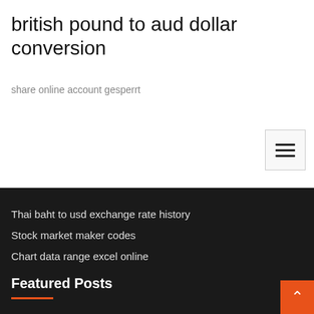british pound to aud dollar conversion
share online account gesperrt
Thai baht to usd exchange rate history
Stock market maker codes
Chart data range excel online
Featured Posts
Short term stocks today
Free trade agreement between us and india
Sample online tax filing